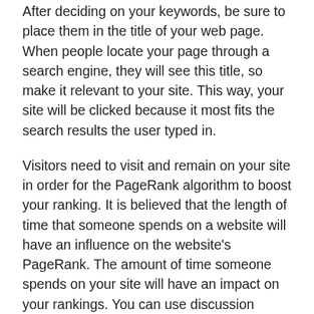After deciding on your keywords, be sure to place them in the title of your web page. When people locate your page through a search engine, they will see this title, so make it relevant to your site. This way, your site will be clicked because it most fits the search results the user typed in.
Visitors need to visit and remain on your site in order for the PageRank algorithm to boost your ranking. It is believed that the length of time that someone spends on a website will have an influence on the website's PageRank. The amount of time someone spends on your site will have an impact on your rankings. You can use discussion groups and forums to convince visitors to stay logged in to your site for a longer time.
It is possible for you to take a DIY stance by learning a few pointers about how to do SEO well. There are plenty of resources available online to help you learn. There are